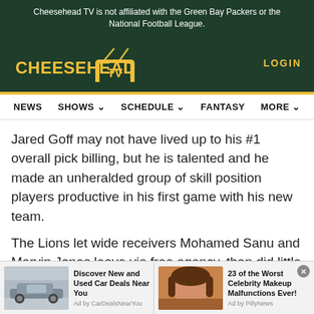Cheesehead TV is not affiliated with the Green Bay Packers or the National Football League.
[Figure (logo): Cheesehead TV logo with yellow text and TV icon on dark green background]
LOGIN
NEWS  SHOWS  SCHEDULE  FANTASY  MORE
Jared Goff may not have lived up to his #1 overall pick billing, but he is talented and he made an unheralded group of skill position players productive in his first game with his new team.
The Lions let wide receivers Mohamed Sanu and Marvin Jones leave via free agency, then did little
[Figure (photo): Silver car advertisement - Discover New and Used Car Deals Near You, Ad by CarDealsNearYou]
[Figure (photo): Celebrity photo advertisement - 23 of the Worst Celebrity Makeup Malfunctions Ever!, Ad by PillyNews]